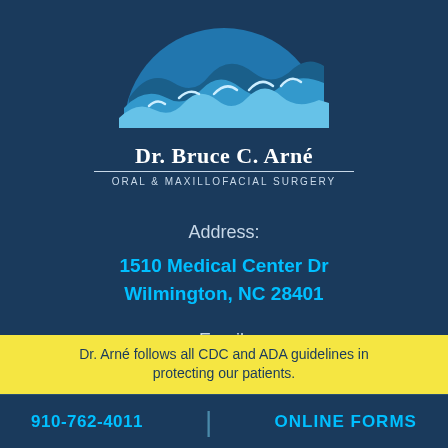[Figure (logo): Dr. Bruce C. Arné Oral & Maxillofacial Surgery logo with ocean waves semicircle graphic in blue tones]
Address:
1510 Medical Center Dr
Wilmington, NC 28401
Email:
frontdesk@coastalcarolinaos.com
Dr. Arné follows all CDC and ADA guidelines in protecting our patients.
910-762-4011
ONLINE FORMS